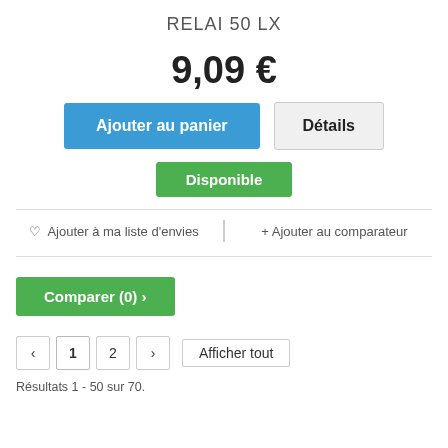RELAI 50 LX
9,09 €
Ajouter au panier
Détails
Disponible
♡ Ajouter à ma liste d'envies
+ Ajouter au comparateur
Comparer (0) >
< 1 2 > Afficher tout
Résultats 1 - 50 sur 70.